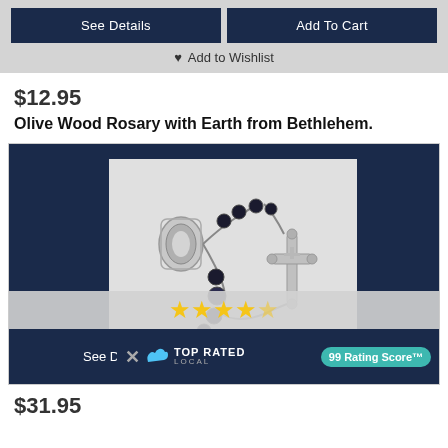See Details | Add To Cart
♥ Add to Wishlist
$12.95
Olive Wood Rosary with Earth from Bethlehem.
[Figure (photo): Rosary with dark beads and silver crucifix and center medallion on light background, with star ratings overlay and product buttons]
See Details | Choose Options
$31.95